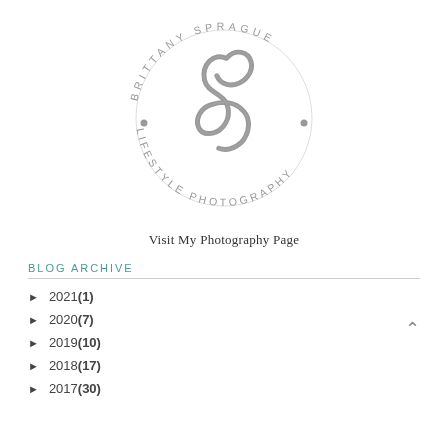[Figure (logo): Brittany Sprague Lifestyle Photography circular logo with ampersand/cursive symbol in center, text arranged in arc around it]
Visit My Photography Page
BLOG ARCHIVE
► 2021 (1)
► 2020 (7)
► 2019 (10)
► 2018 (17)
► 2017 (30)